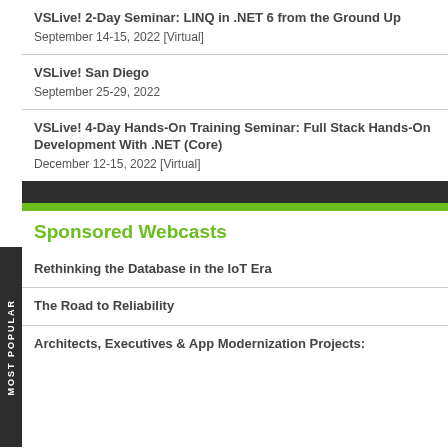VSLive! 2-Day Seminar: LINQ in .NET 6 from the Ground Up
September 14-15, 2022 [Virtual]
VSLive! San Diego
September 25-29, 2022
VSLive! 4-Day Hands-On Training Seminar: Full Stack Hands-On Development With .NET (Core)
December 12-15, 2022 [Virtual]
Sponsored Webcasts
Rethinking the Database in the IoT Era
The Road to Reliability
Architects, Executives & App Modernization Projects: